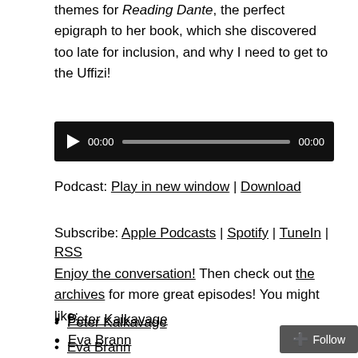themes for Reading Dante, the perfect epigraph to her book, which she discovered too late for inclusion, and why I need to get to the Uffizi!
[Figure (other): Audio player widget with black background, play button, time display 00:00, progress bar, and end time 00:00]
Podcast: Play in new window | Download
Subscribe: Apple Podcasts | Spotify | TuneIn | RSS
Enjoy the conversation! Then check out the archives for more great episodes! You might like:
Peter Kalkavage
Eva Brann
Tom May